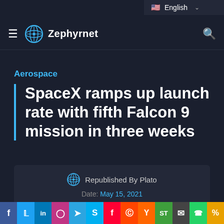English (language selector)
Zephyrnet (navigation bar)
Aerospace
SpaceX ramps up launch rate with fifth Falcon 9 mission in three weeks
Republished By Plato
Date: May 15, 2021
Views: 177
Social share buttons: Facebook, Twitter, LinkedIn, Instagram, Telegram, Skype, Flipboard, Reddit, Hacker News, SteemIt, Email, WhatsApp, Share